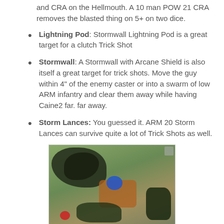and CRA on the Hellmouth. A 10 man POW 21 CRA removes the blasted thing on 5+ on two dice.
Lightning Pod: Stormwall Lightning Pod is a great target for a clutch Trick Shot
Stormwall: A Stormwall with Arcane Shield is also itself a great target for trick shots. Move the guy within 4" of the enemy caster or into a swarm of low ARM infantry and clear them away while having Caine2 far. far away.
Storm Lances: You guessed it. ARM 20 Storm Lances can survive quite a lot of Trick Shots as well.
[Figure (photo): Tabletop miniature wargame figures on a green game mat, showing dark armored figures, a blue token, an orange/rust colored base, and small soldier miniatures.]